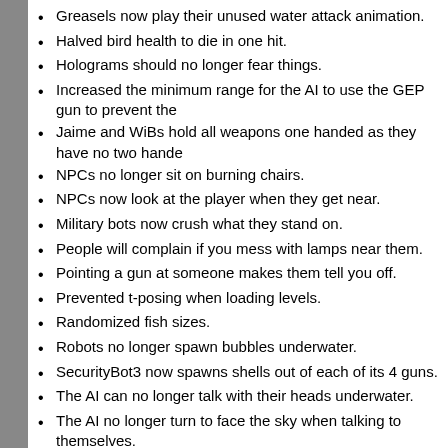Greasels now play their unused water attack animation.
Halved bird health to die in one hit.
Holograms should no longer fear things.
Increased the minimum range for the AI to use the GEP gun to prevent the
Jaime and WiBs hold all weapons one handed as they have no two hande
NPCs no longer sit on burning chairs.
NPCs now look at the player when they get near.
Military bots now crush what they stand on.
People will complain if you mess with lamps near them.
Pointing a gun at someone makes them tell you off.
Prevented t-posing when loading levels.
Randomized fish sizes.
Robots no longer spawn bubbles underwater.
SecurityBot3 now spawns shells out of each of its 4 guns.
The AI can no longer talk with their heads underwater.
The AI no longer turn to face the sky when talking to themselves.
The bark system now correctly handles flag checks.
Augmentations:
Augmentations now turn back on if they were on when upgraded.
Augmentations now display the true energy rate, accounting for cloak/rada the power recirculator.
Augmentations now provide specific numbers in their descriptions.
Invincible objects no longer show their health in the targeting aug.